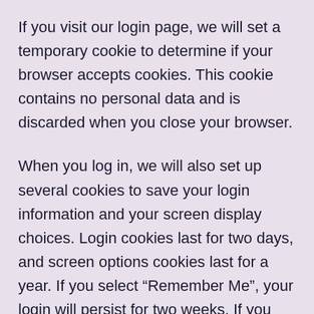If you visit our login page, we will set a temporary cookie to determine if your browser accepts cookies. This cookie contains no personal data and is discarded when you close your browser.
When you log in, we will also set up several cookies to save your login information and your screen display choices. Login cookies last for two days, and screen options cookies last for a year. If you select “Remember Me”, your login will persist for two weeks. If you log out of your account, the login cookies will be removed.